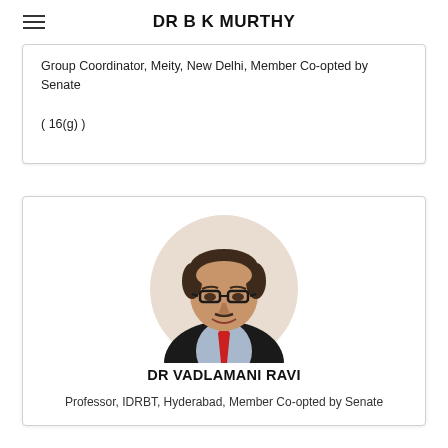DR B K MURTHY
Group Coordinator, Meity, New Delhi, Member Co-opted by Senate

( 16(g) )
[Figure (photo): Circular portrait photo of Dr Vadlamani Ravi, a middle-aged man wearing glasses, a black suit, and a red tie, smiling.]
DR VADLAMANI RAVI
Professor, IDRBT, Hyderabad, Member Co-opted by Senate